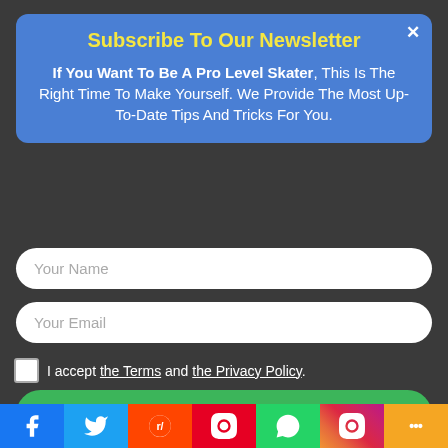Subscribe To Our Newsletter
If You Want To Be A Pro Level Skater, This Is The Right Time To Make Yourself. We Provide The Most Up-To-Date Tips And Tricks For You.
Your Name
Your Email
I accept the Terms and the Privacy Policy.
Subscribe
Skates. Best Inline Skates For Kids And ...
⚡ by Convertful